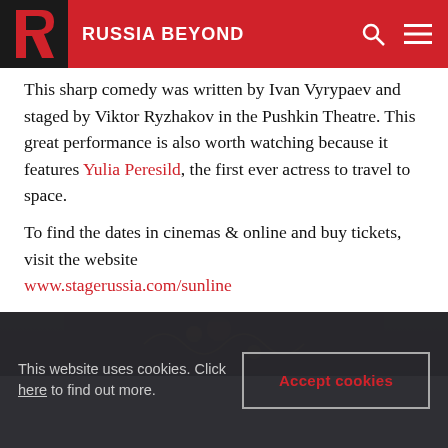RUSSIA BEYOND
This sharp comedy was written by Ivan Vyrypaev and staged by Viktor Ryzhakov in the Pushkin Theatre. This great performance is also worth watching because it features Yulia Peresild, the first ever actress to travel to space.
To find the dates in cinemas & online and buy tickets, visit the website www.stagerussia.com/sunline
5. Finist the Brave Falcon, Soso Daughters
[Figure (photo): Partial view of a dark, ornate stage production image with gold decorative elements]
This website uses cookies. Click here to find out more.